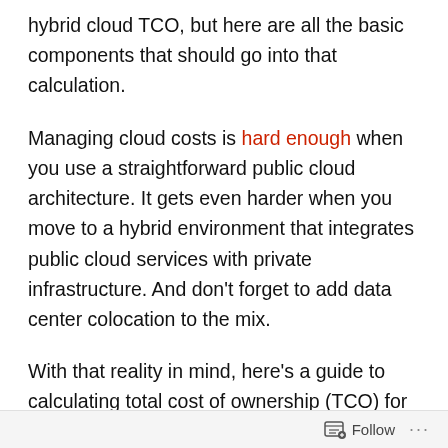hybrid cloud TCO, but here are all the basic components that should go into that calculation.
Managing cloud costs is hard enough when you use a straightforward public cloud architecture. It gets even harder when you move to a hybrid environment that integrates public cloud services with private infrastructure. And don't forget to add data center colocation to the mix.
With that reality in mind, here's a guide to calculating total cost of ownership (TCO) for hybrid cloud architectures that run inside a colocation data center.
Follow ···